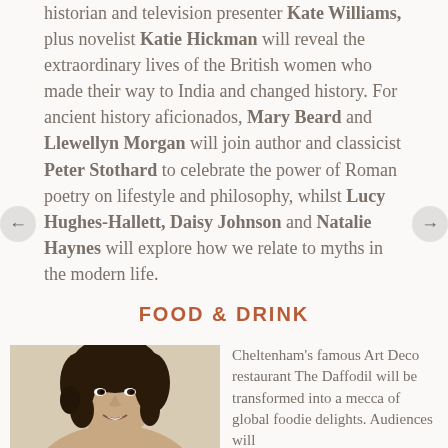historian and television presenter Kate Williams, plus novelist Katie Hickman will reveal the extraordinary lives of the British women who made their way to India and changed history. For ancient history aficionados, Mary Beard and Llewellyn Morgan will join author and classicist Peter Stothard to celebrate the power of Roman poetry on lifestyle and philosophy, whilst Lucy Hughes-Hallett, Daisy Johnson and Natalie Haynes will explore how we relate to myths in the modern life.
FOOD & DRINK
[Figure (photo): Portrait photo of a woman with dark curly hair, smiling, against a light background]
Cheltenham's famous Art Deco restaurant The Daffodil will be transformed into a mecca of global foodie delights. Audiences will